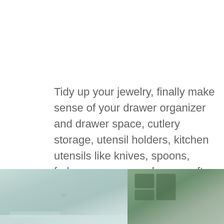Tidy up your jewelry, finally make sense of your drawer organizer and drawer space, cutlery storage, utensil holders, kitchen utensils like knives, spoons, forks, pans, or corral your crafts supplies all with a handy little cutlery tray. Here are 14 silverware tray ideas to get you started, so dust yours off and put them to use.
[Figure (photo): Two side-by-side photos at the bottom of the page. Left photo shows a light teal/mint background with jewelry items including what appears to be a necklace. Right photo shows a darker green-toned image with craft or drawer organizer supplies.]